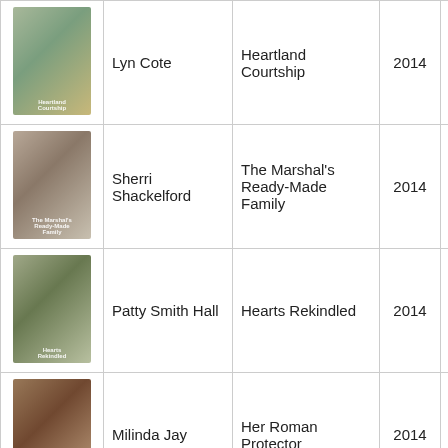| Cover | Author | Title | Year | Month |  |
| --- | --- | --- | --- | --- | --- |
| [image] | Lyn Cote | Heartland Courtship | 2014 | February | In |
| [image] | Sherri Shackelford | The Marshal's Ready-Made Family | 2014 | February | In |
| [image] | Patty Smith Hall | Hearts Rekindled | 2014 | February | In |
| [image] | Milinda Jay | Her Roman Protector | 2014 | February | In |
| [image] | Linda Ford | Winning Over the Wrangler | 2014 | March | In |